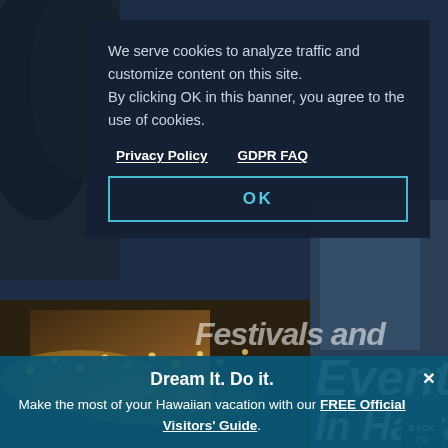[Figure (photo): Background photo of a Hawaiian scene with warm string lights on buildings at dusk, palm trees visible, blue-toned overlay]
Festivals and Events In Hawaii
BACK TO TOP
We serve cookies to analyze traffic and customize content on this site. By clicking OK in this banner, you agree to the use of cookies.
Privacy Policy   GDPR FAQ
OK
Dream It. Do it.
Make the most of your Hawaiian vacation with our FREE Official Visitors' Guide.